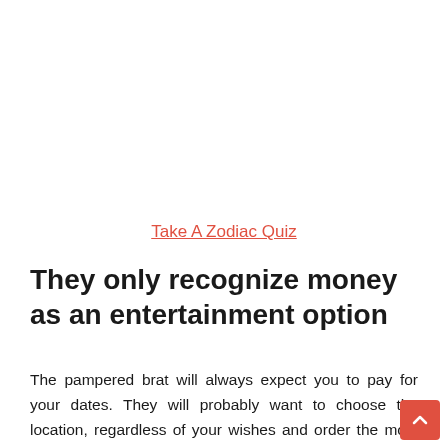Take A Zodiac Quiz
They only recognize money as an entertainment option
The pampered brat will always expect you to pay for your dates. They will probably want to choose the location, regardless of your wishes and order the most expensive thing on the menu. These people believe that it is normal for you to spend your money on entertaining them.